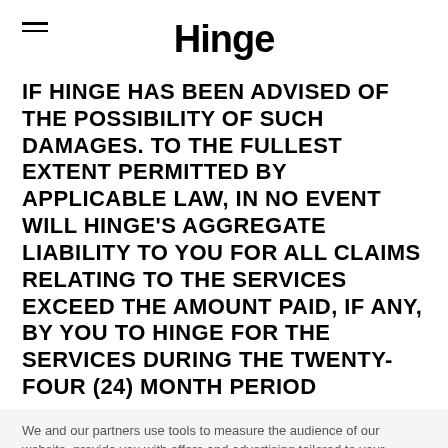Hinge
IF HINGE HAS BEEN ADVISED OF THE POSSIBILITY OF SUCH DAMAGES. TO THE FULLEST EXTENT PERMITTED BY APPLICABLE LAW, IN NO EVENT WILL HINGE'S AGGREGATE LIABILITY TO YOU FOR ALL CLAIMS RELATING TO THE SERVICES EXCEED THE AMOUNT PAID, IF ANY, BY YOU TO HINGE FOR THE SERVICES DURING THE TWENTY-FOUR (24) MONTH PERIOD
We and our partners use tools to measure the audience of our website, provide you with offers and advertising tailored to your interests, and to enable interactive social platform features such as share buttons.
Personalize my choices
Accept